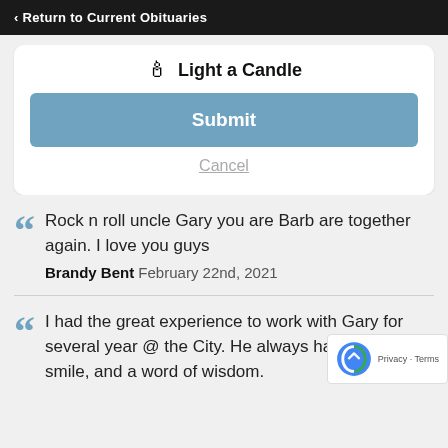< Return to Current Obituaries
Light a Candle
Submit
Cancel
Rock n roll uncle Gary you are Barb are together again. I love you guys
Brandy Bent  February 22nd, 2021
I had the great experience to work with Gary for several year @ the City. He always had a laugh, a smile, and a word of wisdom.